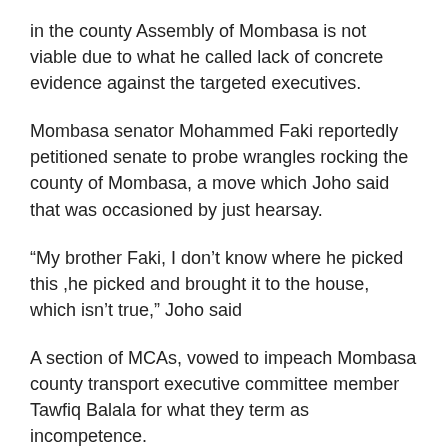in the county Assembly of Mombasa is not viable due to what he called lack of concrete evidence against the targeted executives.
Mombasa senator Mohammed Faki reportedly petitioned senate to probe wrangles rocking the county of Mombasa, a move which Joho said that was occasioned by just hearsay.
“My brother Faki, I don’t know where he picked this ,he picked and brought it to the house, which isn’t true,” Joho said
A section of MCAs, vowed to impeach Mombasa county transport executive committee member Tawfiq Balala for what they term as incompetence.
However, Joho indicated that he is ready to take action and sack any chief executive of his government who flouts the